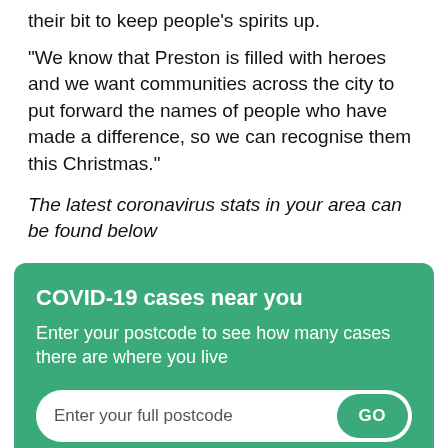their bit to keep people’s spirits up.
“We know that Preston is filled with heroes and we want communities across the city to put forward the names of people who have made a difference, so we can recognise them this Christmas.”
The latest coronavirus stats in your area can be found below
[Figure (infographic): Green banner widget titled 'COVID-19 cases near you' with subtitle 'Enter your postcode to see how many cases there are where you live' and an input field showing 'Enter your full postcode' with a green GO button.]